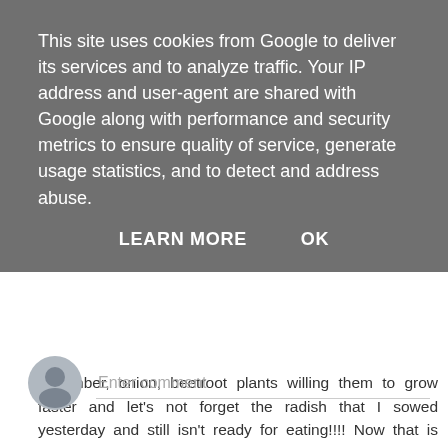This site uses cookies from Google to deliver its services and to analyze traffic. Your IP address and user-agent are shared with Google along with performance and security metrics to ensure quality of service, generate usage statistics, and to detect and address abuse.
LEARN MORE    OK
cucumber, onion, beetroot plants willing them to grow faster and let's not forget the radish that I sowed yesterday and still isn't ready for eating!!!! Now that is getting old (or is it sad!!!) - and yes - as I stand straight again I do go "ooh" and "aah" just like you. But at least in old age I'm eating well!!!!!
PS Want any tomato plants for your garden????
Reply
Enter comment